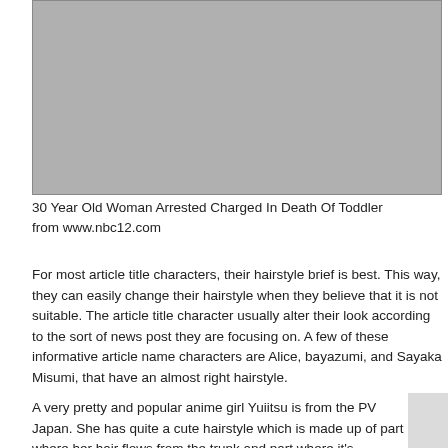[Figure (photo): Gray placeholder image rectangle]
30 Year Old Woman Arrested Charged In Death Of Toddler from www.nbc12.com
For most article title characters, their hairstyle brief is best. This way, they can easily change their hairstyle when they believe that it is not suitable. The article title character usually alter their look according to the sort of news post they are focusing on. A few of these informative article name characters are Alice, bayazumi, and Sayaka Misumi, that have an almost right hairstyle.
A very pretty and popular anime girl Yuiitsu is from the PV Japan. She has quite a cute hairstyle which is made up of part where her hair flows from the trunk and part where it's